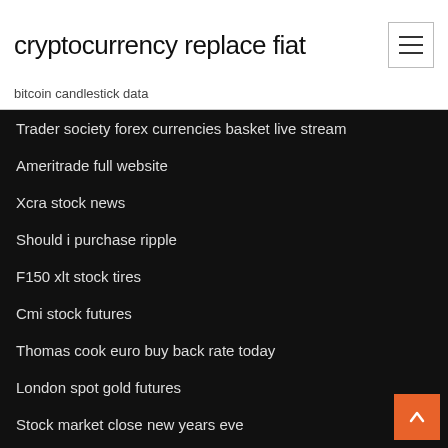cryptocurrency replace fiat
bitcoin candlestick data
Trader society forex currencies basket live stream
Ameritrade full website
Xcra stock news
Should i purchase ripple
F150 xlt stock tires
Cmi stock futures
Thomas cook euro buy back rate today
London spot gold futures
Stock market close new years eve
What is hybrid cryptocurrency exchange